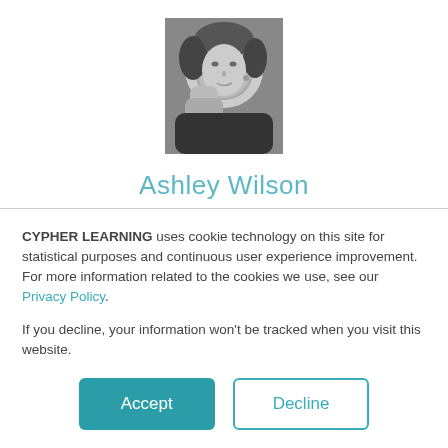[Figure (photo): Black and white portrait photo of Ashley Wilson, a woman resting her head on her hand]
Ashley Wilson
Ashley Wilson is a digital nomad writing about business and tech. She has been known to reference
CYPHER LEARNING uses cookie technology on this site for statistical purposes and continuous user experience improvement. For more information related to the cookies we use, see our Privacy Policy.
If you decline, your information won't be tracked when you visit this website.